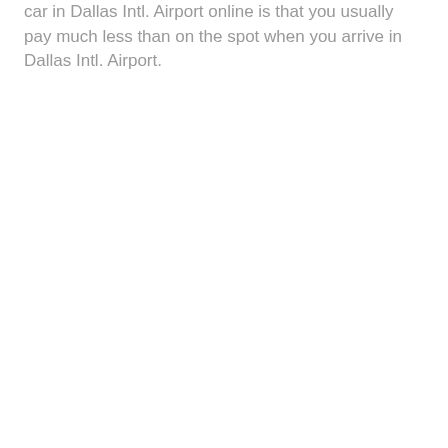car in Dallas Intl. Airport online is that you usually pay much less than on the spot when you arrive in Dallas Intl. Airport.